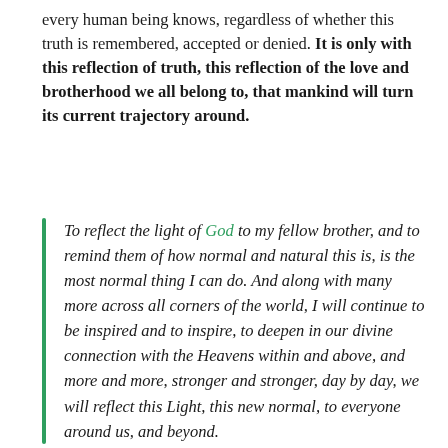every human being knows, regardless of whether this truth is remembered, accepted or denied. It is only with this reflection of truth, this reflection of the love and brotherhood we all belong to, that mankind will turn its current trajectory around.
To reflect the light of God to my fellow brother, and to remind them of how normal and natural this is, is the most normal thing I can do. And along with many more across all corners of the world, I will continue to be inspired and to inspire, to deepen in our divine connection with the Heavens within and above, and more and more, stronger and stronger, day by day, we will reflect this Light, this new normal, to everyone around us, and beyond.